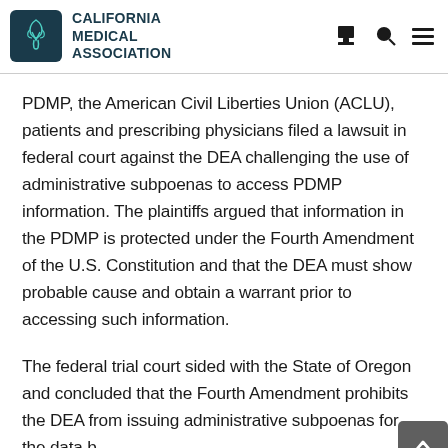California Medical Association
PDMP, the American Civil Liberties Union (ACLU), patients and prescribing physicians filed a lawsuit in federal court against the DEA challenging the use of administrative subpoenas to access PDMP information. The plaintiffs argued that information in the PDMP is protected under the Fourth Amendment of the U.S. Constitution and that the DEA must show probable cause and obtain a warrant prior to accessing such information.
The federal trial court sided with the State of Oregon and concluded that the Fourth Amendment prohibits the DEA from issuing administrative subpoenas for the data b…